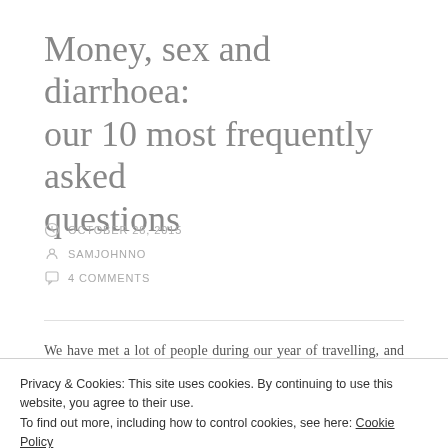Money, sex and diarrhoea: our 10 most frequently asked questions
OCTOBER 28, 2015
SAMJOHNNO
4 COMMENTS
We have met a lot of people during our year of travelling, and had lots of conversations. There are
Privacy & Cookies: This site uses cookies. By continuing to use this website, you agree to their use.
To find out more, including how to control cookies, see here: Cookie Policy
1. How can you afford to travel for a whole year?